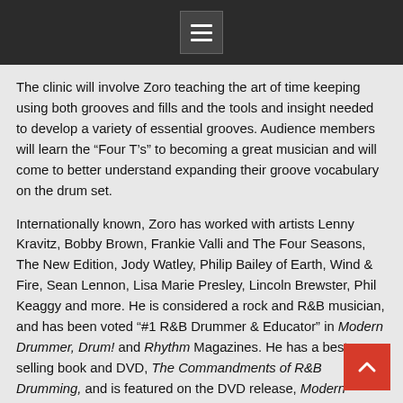[menu icon]
The clinic will involve Zoro teaching the art of time keeping using both grooves and fills and the tools and insight needed to develop a variety of essential grooves. Audience members will learn the “Four T’s” to becoming a great musician and will come to better understand expanding their groove vocabulary on the drum set.
Internationally known, Zoro has worked with artists Lenny Kravitz, Bobby Brown, Frankie Valli and The Four Seasons, The New Edition, Jody Watley, Philip Bailey of Earth, Wind & Fire, Sean Lennon, Lisa Marie Presley, Lincoln Brewster, Phil Keaggy and more. He is considered a rock and R&B musician, and has been voted “#1 R&B Drummer & Educator” in Modern Drummer, Drum! and Rhythm Magazines. He has a best-selling book and DVD, The Commandments of R&B Drumming, and is featured on the DVD release, Modern Drummer Festival 2005.